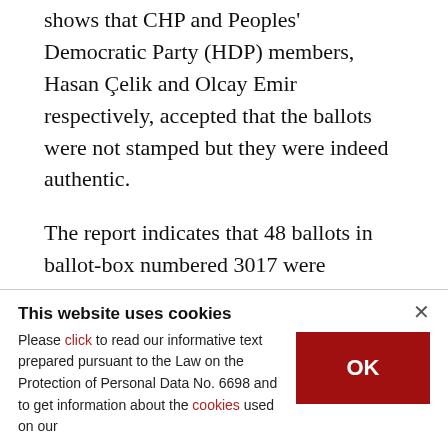shows that CHP and Peoples' Democratic Party (HDP) members, Hasan Çelik and Olcay Emir respectively, accepted that the ballots were not stamped but they were indeed authentic.
The report indicates that 48 ballots in ballot-box numbered 3017 were unstamped.
"We have unanimously agreed on the validity of the [unstamped] ballots as there is no uncertainty regarding the voters' will," the report read,
This website uses cookies
Please click to read our informative text prepared pursuant to the Law on the Protection of Personal Data No. 6698 and to get information about the cookies used on our